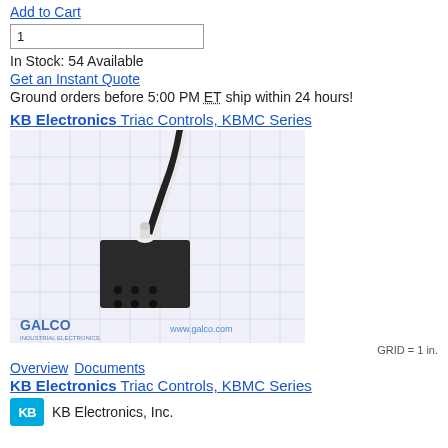Add to Cart
1
In Stock: 54 Available
Get an Instant Quote
Ground orders before 5:00 PM ET ship within 24 hours!
KB Electronics Triac Controls, KBMC Series
[Figure (photo): Photo of KB Electronics KBMC Series Triac Control — a small black rectangular electronic component with a white knob on top and six connector pins on the bottom, sitting on a grid background. Galco Industrial Electronics branding and www.galco.com watermark visible. Grid = 1 in.]
GRID = 1 in.
Overview Documents
KB Electronics Triac Controls, KBMC Series
[Figure (logo): KB Electronics, Inc. logo — blue/cyan square with KB letters in white, followed by KB Electronics, Inc. text]